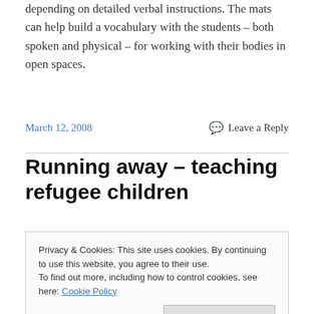depending on detailed verbal instructions. The mats can help build a vocabulary with the students – both spoken and physical – for working with their bodies in open spaces.
March 12, 2008
Leave a Reply
Running away – teaching refugee children
Privacy & Cookies: This site uses cookies. By continuing to use this website, you agree to their use.
To find out more, including how to control cookies, see here: Cookie Policy
Close and accept